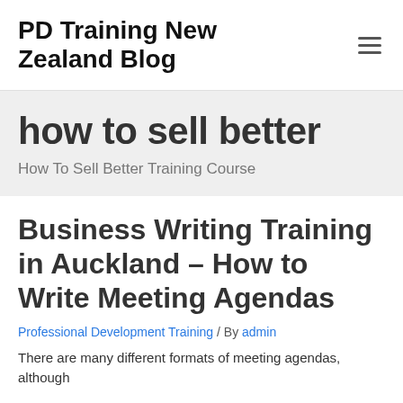PD Training New Zealand Blog
how to sell better
How To Sell Better Training Course
Business Writing Training in Auckland – How to Write Meeting Agendas
Professional Development Training / By admin
There are many different formats of meeting agendas, although